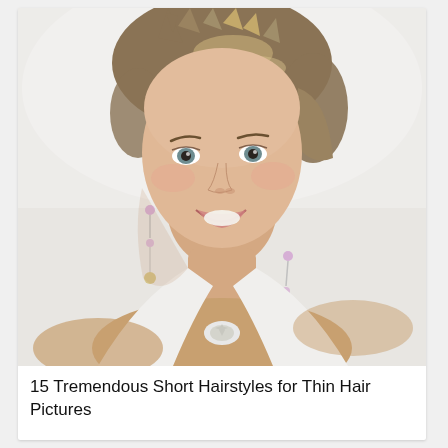[Figure (photo): A smiling woman with short, tousled brunette-blonde pixie cut hair, wearing dangling pearl earrings and a white halter-neck dress with a jeweled brooch at the chest, posed against a white background.]
15 Tremendous Short Hairstyles for Thin Hair Pictures